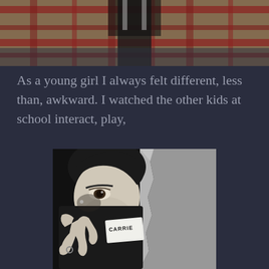[Figure (photo): Top portion of a person wearing a plaid/flannel shirt, cropped to show torso area only, color photo]
As a young girl I always felt different, less than, awkward. I watched the other kids at school interact, play,
[Figure (photo): Black and white portrait photo of a young woman partially hiding her face behind a black fabric/book with a name tag reading 'CARRIE' written on it. She peeks over the top with one eye visible, wearing a ring.]